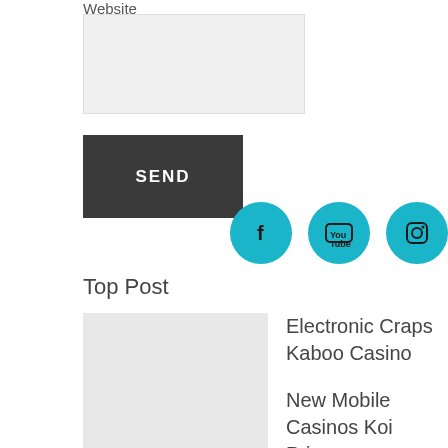Website
[Figure (screenshot): Website text input field (empty, light gray background)]
[Figure (screenshot): SEND button, dark gray/charcoal background with white bold text 'SEND']
[Figure (infographic): Four teal/cyan circular social media icon buttons: Facebook (f), YouTube, Instagram, Twitter]
Top Post
Electronic Craps Kaboo Casino
New Mobile Casinos Koi Princess